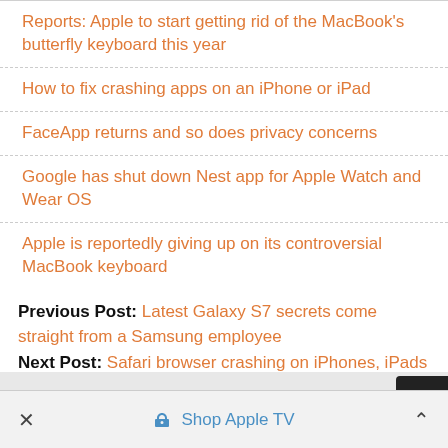Reports: Apple to start getting rid of the MacBook's butterfly keyboard this year
How to fix crashing apps on an iPhone or iPad
FaceApp returns and so does privacy concerns
Google has shut down Nest app for Apple Watch and Wear OS
Apple is reportedly giving up on its controversial MacBook keyboard
Previous Post: Latest Galaxy S7 secrets come straight from a Samsung employee
Next Post: Safari browser crashing on iPhones, iPads and Macs worldwide on Wednesday
Shop Apple TV